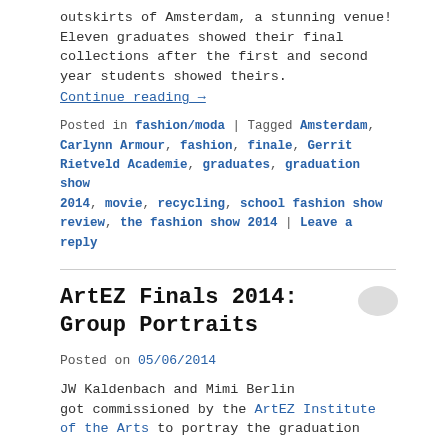outskirts of Amsterdam, a stunning venue! Eleven graduates showed their final collections after the first and second year students showed theirs.
Continue reading →
Posted in fashion/moda | Tagged Amsterdam, Carlynn Armour, fashion, finale, Gerrit Rietveld Academie, graduates, graduation show 2014, movie, recycling, school fashion show review, the fashion show 2014 | Leave a reply
ArtEZ Finals 2014: Group Portraits
Posted on 05/06/2014
JW Kaldenbach and Mimi Berlin got commissioned by the ArtEZ Institute of the Arts to portray the graduation